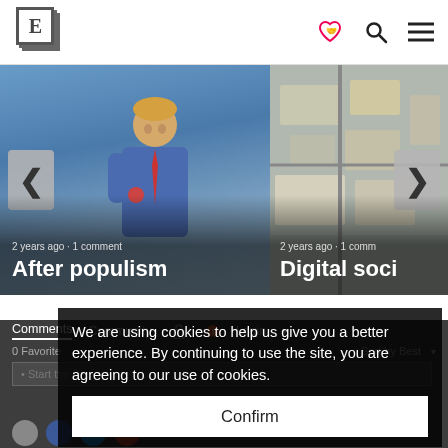E logo with navigation icons including heart/community, search, and menu
[Figure (screenshot): Carousel showing two article cards: left card shows a figurine resembling a populist politician against a blue sky background with text '2 years ago • 1 comment' and title 'After populism'; right card shows an aerial photo of a settlement/urban area with text '2 years ago • 1 comm' and title 'Digital soci'. Left navigation arrow and right navigation arrow visible.]
Comments  Community  Login
0 Favorite  Sort by Best
• Start the discussion
We are using cookies to help us give you a better experience. By continuing to use the site, you are agreeing to our use of cookies.
Confirm